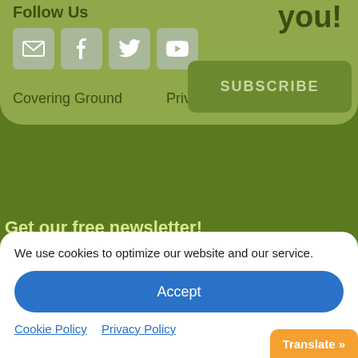Follow Us
you!
[Figure (infographic): Social media icon buttons: email, Facebook, Twitter, YouTube]
SUBSCRIBE
Covering Ground
Privacy Policy
Get our free newsletter!
SIGN UP NOW
We use cookies to optimize our website and our service.
Accept
Cookie Policy
Privacy Policy
Translate »